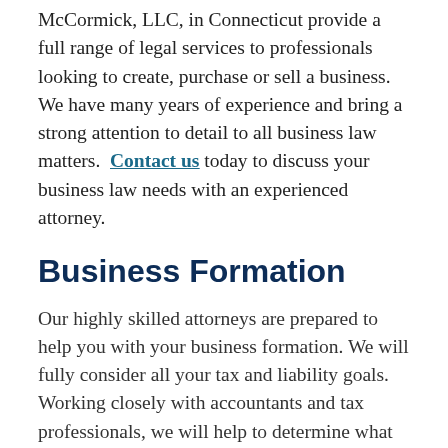McCormick, LLC, in Connecticut provide a full range of legal services to professionals looking to create, purchase or sell a business. We have many years of experience and bring a strong attention to detail to all business law matters. Contact us today to discuss your business law needs with an experienced attorney.
Business Formation
Our highly skilled attorneys are prepared to help you with your business formation. We will fully consider all your tax and liability goals. Working closely with accountants and tax professionals, we will help to determine what entity will best meet your needs. Once